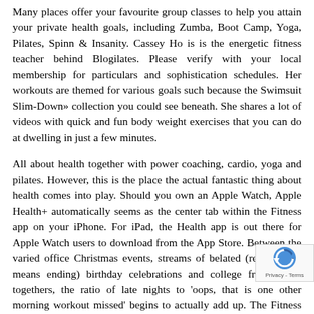Many places offer your favourite group classes to help you attain your private health goals, including Zumba, Boot Camp, Yoga, Pilates, Spinn & Insanity. Cassey Ho is is the energetic fitness teacher behind Blogilates. Please verify with your local membership for particulars and sophistication schedules. Her workouts are themed for various goals such because the Swimsuit Slim-Down» collection you could see beneath. She shares a lot of videos with quick and fun body weight exercises that you can do at dwelling in just a few minutes.
All about health together with power coaching, cardio, yoga and pilates. However, this is the place the actual fantastic thing about health comes into play. Should you own an Apple Watch, Apple Health+ automatically seems as the center tab within the Fitness app on your iPhone. For iPad, the Health app is out there for Apple Watch users to download from the App Store. Between the varied office Christmas events, streams of belated (read: by no means ending) birthday celebrations and college friends get-togethers, the ratio of late nights to 'oops, that is one other morning workout missed' begins to actually add up. The Fitness app is also out there on Apple TELEVISION.
That may't actually be true. I am just too busy to work out means different things to completely different individuals being has something for everyone, whether or not you're just